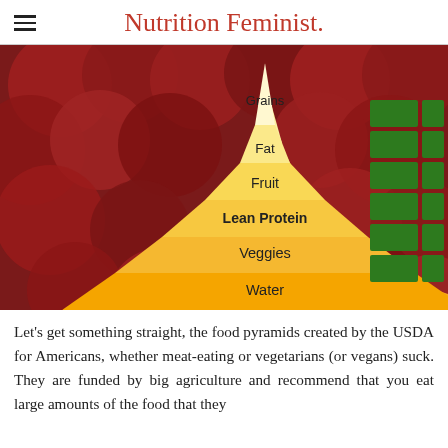Nutrition Feminist.
[Figure (infographic): A food pyramid diagram showing layers from bottom to top: Water, Veggies, Lean Protein, Fruit, Fat, Grains. The pyramid is yellow/gold gradient on a dark red background with circular shapes. Green sidebar tab navigation is visible on the right.]
Let's get something straight, the food pyramids created by the USDA for Americans, whether meat-eating or vegetarians (or vegans) suck. They are funded by big agriculture and recommend that you eat large amounts of the food that they